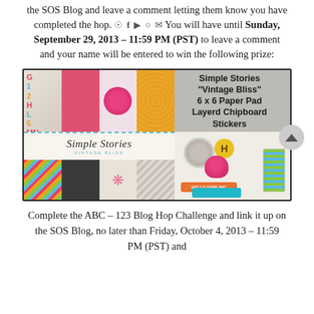the SOS Blog and leave a comment letting them know you have completed the hop. You will have until Sunday, September 29, 2013 – 11:59 PM (PST) to leave a comment and your name will be entered to win the following prize:
[Figure (photo): Simple Stories 'Vintage Bliss' 6x6 Paper Pad and Layered Chipboard Stickers product image]
Complete the ABC – 123 Blog Hop Challenge and link it up on the SOS Blog, no later than Friday, October 4, 2013 – 11:59 PM (PST) and